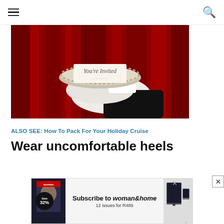navigation bar with hamburger menu and search icon
[Figure (photo): A gloved butler's hand holding a silver platter with a card reading 'You're Invited', against a red curtain background.]
ALSO SEE: How To Pack For Your Holiday Cruise
Wear uncomfortable heels
(partial text cut off at bottom)
[Figure (other): Advertisement: Subscribe to woman&home – 12 issues for R489. Features a Save 32% badge and magazine cover images.]